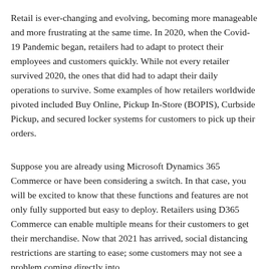Retail is ever-changing and evolving, becoming more manageable and more frustrating at the same time. In 2020, when the Covid-19 Pandemic began, retailers had to adapt to protect their employees and customers quickly. While not every retailer survived 2020, the ones that did had to adapt their daily operations to survive. Some examples of how retailers worldwide pivoted included Buy Online, Pickup In-Store (BOPIS), Curbside Pickup, and secured locker systems for customers to pick up their orders.
Suppose you are already using Microsoft Dynamics 365 Commerce or have been considering a switch. In that case, you will be excited to know that these functions and features are not only fully supported but easy to deploy. Retailers using D365 Commerce can enable multiple means for their customers to get their merchandise. Now that 2021 has arrived, social distancing restrictions are starting to ease; some customers may not see a problem coming directly into